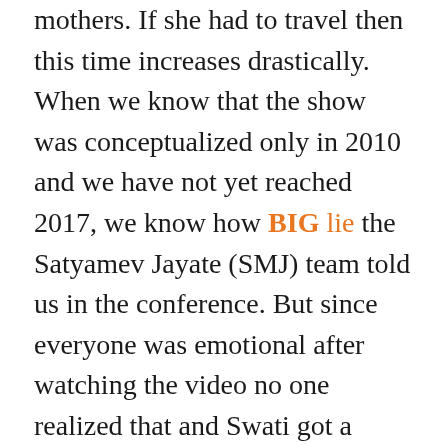mothers. If she had to travel then this time increases drastically. When we know that the show was conceptualized only in 2010 and we have not yet reached 2017, we know how BIG lie the Satyamev Jayate (SMJ) team told us in the conference. But since everyone was emotional after watching the video no one realized that and Swati got a standing ovation from the entire crowd at both the venues.
Another question came to mind was why did they leave the mother's house in hurry and never raised police complaints against her and her in-laws? in this way, they have only